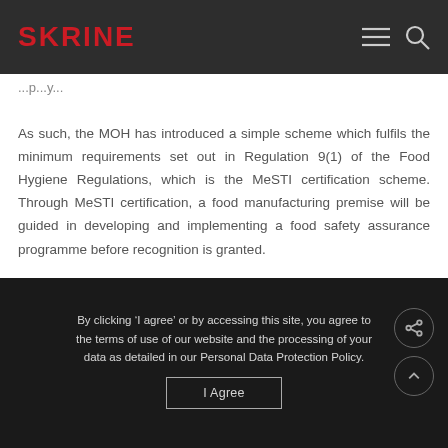SKRINE
As such, the MOH has introduced a simple scheme which fulfils the minimum requirements set out in Regulation 9(1) of the Food Hygiene Regulations, which is the MeSTI certification scheme. Through MeSTI certification, a food manufacturing premise will be guided in developing and implementing a food safety assurance programme before recognition is granted.
By clicking ‘I agree’ or by accessing this site, you agree to the terms of use of our website and the processing of your data as detailed in our Personal Data Protection Policy.